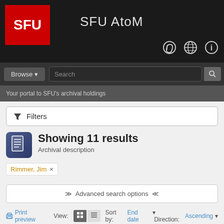SFU AtoM
[Figure (logo): SFU red logo box with white SFU text]
Your portal to SFU's archival holdings
Filters
Showing 11 results
Archival description
Rimmer, Jim ×
Advanced search options
Print preview  View:  Sort by: End date ▼  Direction: Ascending ▼